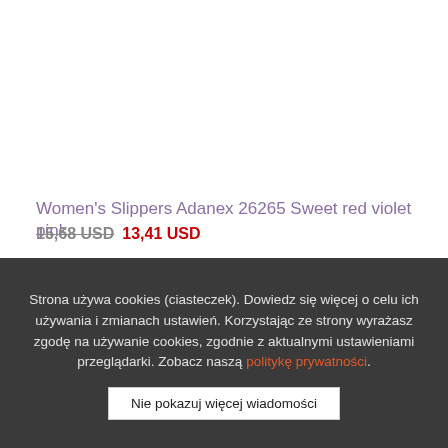Women's Slippers Adanex 26265 Sweet red violet pink
15,68 USD  13,41 USD
36   37   38
Strona używa cookies (ciasteczek). Dowiedz się więcej o celu ich używania i zmianach ustawień. Korzystając ze strony wyrażasz zgodę na używanie cookies, zgodnie z aktualnymi ustawieniami przeglądarki. Zobacz naszą politykę prywatności.
Nie pokazuj więcej wiadomości